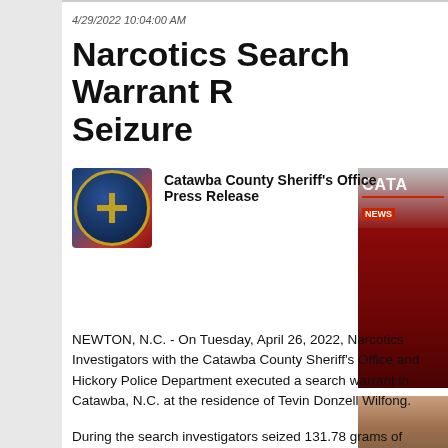4/29/2022 10:04:00 AM
Narcotics Search Warrant R... Seizure
Catawba County Sheriff's Office Press Release
[Figure (logo): Catawba County Sheriff's Office badge/seal logo]
[Figure (photo): Partial news broadcast thumbnail - CATA... with NEWS banner, dark red background]
NEWTON, N.C. - On Tuesday, April 26, 2022, Narcotics Investigators with the Catawba County Sheriff's Office and Hickory Police Department executed a search warrant in Catawba, N.C. at the residence of Tevin Donzell Wilfong.
During the search investigators seized 131.78 grams of cocaine, 1.58 pounds of marijuana, $3,177 in United States Currency, one .45 caliber handgun, ten dosage units of Xanax, six dosage units of Clonazepam and two digital scales with cocaine.
Wilfong was arrested and has been charged with Trafficking in Cocaine, Maintaining a Dwelling for the Purposes of Manufacturing, Selling or Delivering Controlled Substances, Maintaining a Vehicle for the Purposes of Manufacturing, Selling or Delivering Controlled